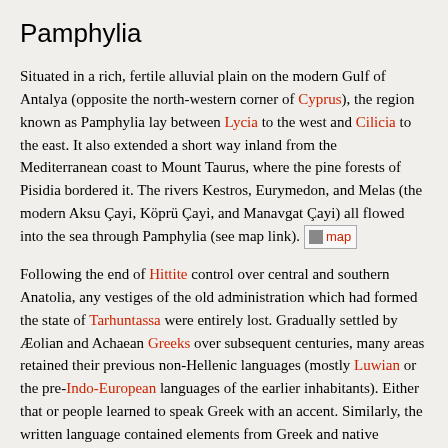Pamphylia
Situated in a rich, fertile alluvial plain on the modern Gulf of Antalya (opposite the north-western corner of Cyprus), the region known as Pamphylia lay between Lycia to the west and Cilicia to the east. It also extended a short way inland from the Mediterranean coast to Mount Taurus, where the pine forests of Pisidia bordered it. The rivers Kestros, Eurymedon, and Melas (the modern Aksu Çayi, Köprü Çayi, and Manavgat Çayi) all flowed into the sea through Pamphylia (see map link).
Following the end of Hittite control over central and southern Anatolia, any vestiges of the old administration which had formed the state of Tarhuntassa were entirely lost. Gradually settled by Æolian and Achaean Greeks over subsequent centuries, many areas retained their previous non-Hellenic languages (mostly Luwian or the pre-Indo-European languages of the earlier inhabitants). Either that or people learned to speak Greek with an accent. Similarly, the written language contained elements from Greek and native languages.